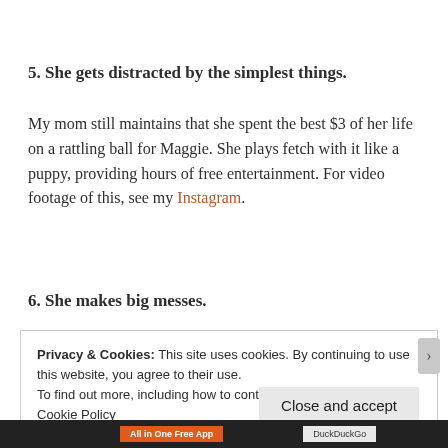5. She gets distracted by the simplest things.
My mom still maintains that she spent the best $3 of her life on a rattling ball for Maggie. She plays fetch with it like a puppy, providing hours of free entertainment. For video footage of this, see my Instagram.
6. She makes big messes.
Privacy & Cookies: This site uses cookies. By continuing to use this website, you agree to their use.
To find out more, including how to control cookies, see here:
Cookie Policy
Close and accept